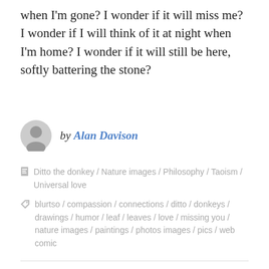when I'm gone? I wonder if it will miss me? I wonder if I will think of it at night when I'm home? I wonder if it will still be here, softly battering the stone?
by Alan Davison
Ditto the donkey / Nature images / Philosophy / Taoism / Universal love
blurtso / compassion / connections / ditto / donkeys / drawings / humor / leaf / leaves / love / missing you / nature images / paintings / photos images / pics / web comic